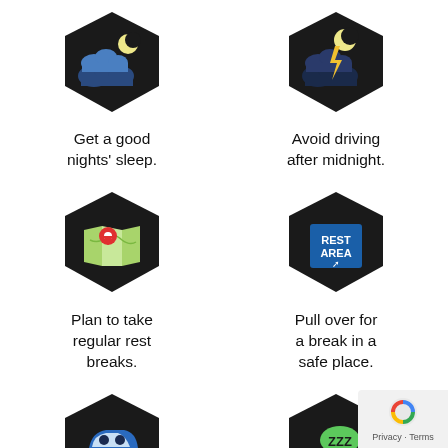[Figure (infographic): Hexagon icon with cloud and moon — sleep tip]
Get a good nights' sleep.
[Figure (infographic): Hexagon icon with moon and lightning — avoid driving after midnight]
Avoid driving after midnight.
[Figure (infographic): Hexagon icon with map and location pin — plan rest breaks]
Plan to take regular rest breaks.
[Figure (infographic): Hexagon icon with REST AREA sign — pull over for a break]
Pull over for a break in a safe place.
[Figure (infographic): Hexagon icon with blue car — arrange to share the driving]
Arrange to share the driving.
[Figure (infographic): Hexagon icon with sleeping zzz — take a nap]
Take a nap, 20 minutes works best.
Privacy · Terms